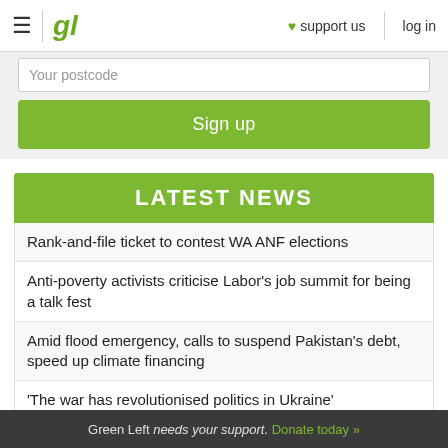gl | ♥ support us | log in
Your postcode
Sign up
LATEST NEWS
Rank-and-file ticket to contest WA ANF elections
Anti-poverty activists criticise Labor's job summit for being a talk fest
Amid flood emergency, calls to suspend Pakistan's debt, speed up climate financing
'The war has revolutionised politics in Ukraine'
Ukraine, war and the British left
Green Left needs your support. Donate today »